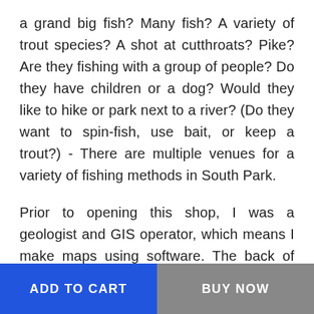a grand big fish? Many fish? A variety of trout species? A shot at cutthroats? Pike? Are they fishing with a group of people? Do they have children or a dog? Would they like to hike or park next to a river? (Do they want to spin-fish, use bait, or keep a trout?) - There are multiple venues for a variety of fishing methods in South Park.
Prior to opening this shop, I was a geologist and GIS operator, which means I make maps using software. The back of my shop has a wall devoted to maps showing people where they are, orienting them to the region and the flow of the South Platte River, and showing a variety of options for their day. My maps have personal notes and colored lines drawn on them. People capture images of my maps using their cells phones. I began to realize that these
ADD TO CART
BUY NOW